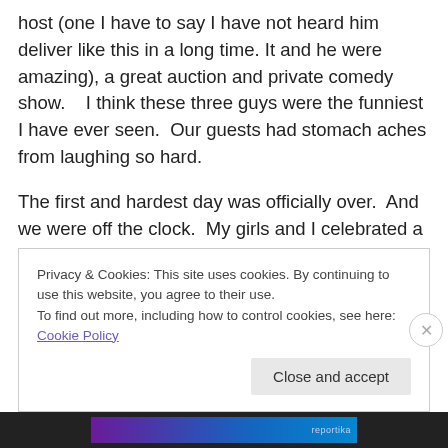host (one I have to say I have not heard him deliver like this in a long time. It and he were amazing), a great auction and private comedy show.    I think these three guys were the funniest I have ever seen.  Our guests had stomach aches from laughing so hard.
The first and hardest day was officially over.  And we were off the clock.  My girls and I celebrated a bit with the boys at the bar.  Some of them started to dance and show us their moves.  The best move, and at this point the most familiar move, was some sort of breakdancing.  It entailed
Privacy & Cookies: This site uses cookies. By continuing to use this website, you agree to their use.
To find out more, including how to control cookies, see here: Cookie Policy